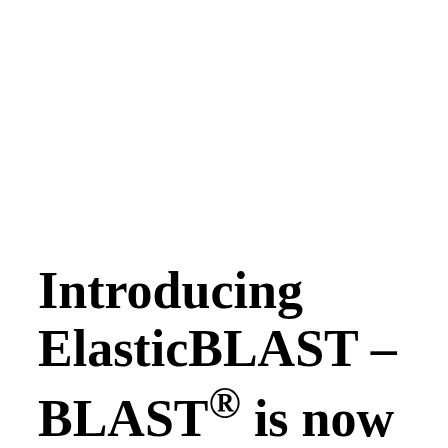Introducing ElasticBLAST – BLAST® is now